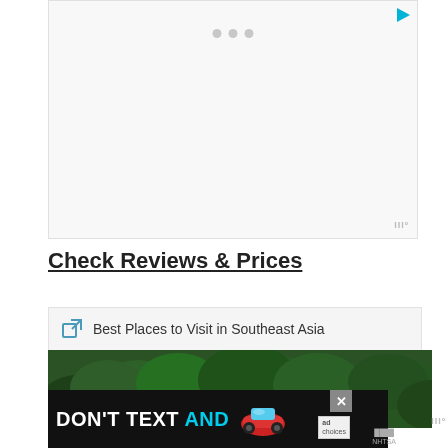[Figure (other): Advertisement placeholder box with loading indicator dots and Moat watermark]
Check Reviews & Prices
Best Places to Visit in Southeast Asia
[Figure (photo): Aerial view of dense green forest / tree canopy]
[Figure (other): Bottom advertisement banner: DON'T TEXT AND [car image] with ad badge and NHTSA logo, close button]